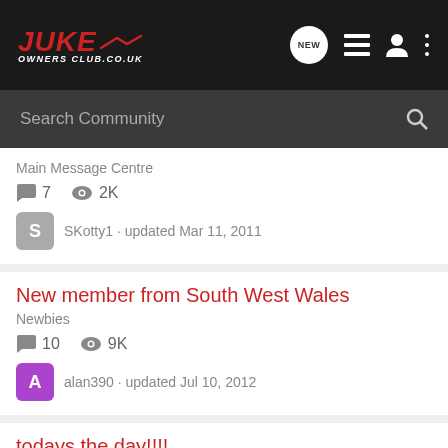JUKE Owners Club .co.uk
Search Community
Main Message Centre
7 comments  2K views
SKotty1 · updated Mar 11, 2011
New member from South West Wales
Newbies
10 comments  9K views
alan390 · updated Jul 10, 2012
todays the day!!!!
Ordering